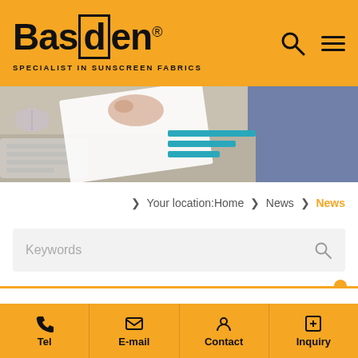Basden® SPECIALIST IN SUNSCREEN FABRICS
[Figure (photo): Person reviewing documents at a desk with keyboard and papers visible]
Your location: Home › News › News
Keywords (search input)
News Categories
Tel  E-mail  Contact  Inquiry